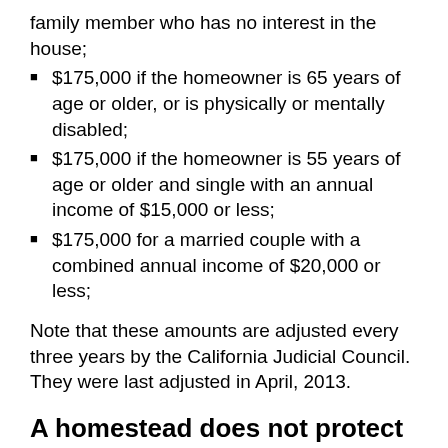family member who has no interest in the house;
$175,000 if the homeowner is 65 years of age or older, or is physically or mentally disabled;
$175,000 if the homeowner is 55 years of age or older and single with an annual income of $15,000 or less;
$175,000 for a married couple with a combined annual income of $20,000 or less;
Note that these amounts are adjusted every three years by the California Judicial Council. They were last adjusted in April, 2013.
A homestead does not protect you against:
Foreclosure of your home by mortgage lender if